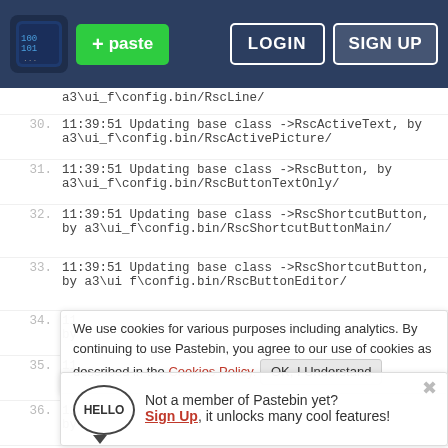Pastebin navigation bar with logo, + paste button, LOGIN and SIGN UP buttons
a3\ui_f\config.bin/RscLine/
30. 11:39:51 Updating base class ->RscActiveText, by a3\ui_f\config.bin/RscActivePicture/
31. 11:39:51 Updating base class ->RscButton, by a3\ui_f\config.bin/RscButtonTextOnly/
32. 11:39:51 Updating base class ->RscShortcutButton, by a3\ui_f\config.bin/RscShortcutButtonMain/
33. 11:39:51 Updating base class ->RscShortcutButton, by a3\ui f\config.bin/RscButtonEditor/
34. 11  by
35. 11  by
36. 11  by
37. 11 a3\ui_f\config.bin/RscButtonMenuOK/
We use cookies for various purposes including analytics. By continuing to use Pastebin, you agree to our use of cookies as described in the Cookies Policy. OK, I Understand
Not a member of Pastebin yet? Sign Up, it unlocks many cool features!